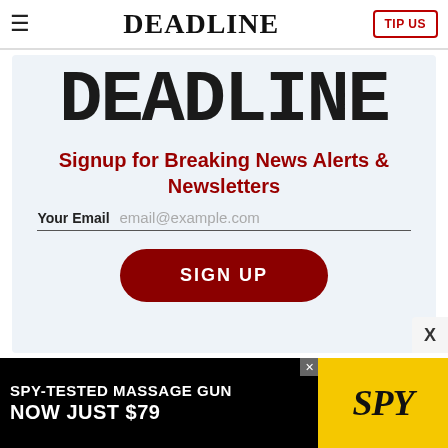≡  DEADLINE  TIP US
DEADLINE
Signup for Breaking News Alerts & Newsletters
Your Email  email@example.com
SIGN UP
[Figure (screenshot): Advertisement banner: SPY-TESTED MASSAGE GUN NOW JUST $79 with SPY logo on yellow background]